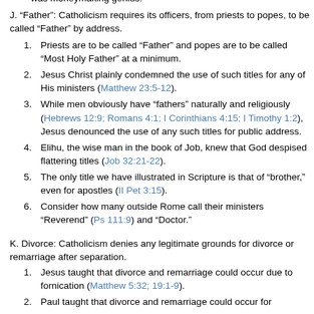was moneymaking genius!
J. “Father”: Catholicism requires its officers, from priests to popes, to be called “Father” by address.
1. Priests are to be called “Father” and popes are to be called “Most Holy Father” at a minimum.
2. Jesus Christ plainly condemned the use of such titles for any of His ministers (Matthew 23:5-12).
3. While men obviously have “fathers” naturally and religiously (Hebrews 12:9; Romans 4:1; I Corinthians 4:15; I Timothy 1:2), Jesus denounced the use of any such titles for public address.
4. Elihu, the wise man in the book of Job, knew that God despised flattering titles (Job 32:21-22).
5. The only title we have illustrated in Scripture is that of “brother,” even for apostles (II Pet 3:15).
6. Consider how many outside Rome call their ministers “Reverend” (Ps 111:9) and “Doctor.”
K. Divorce: Catholicism denies any legitimate grounds for divorce or remarriage after separation.
1. Jesus taught that divorce and remarriage could occur due to fornication (Matthew 5:32; 19:1-9).
2. Paul taught that divorce and remarriage could occur for